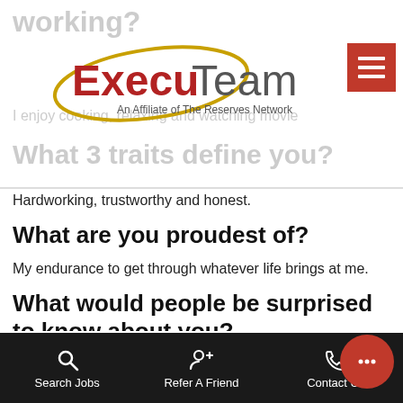[Figure (logo): ExecuTeam logo with gold oval outline. Red bold 'Execu' and gray 'Team' text. Subtitle: 'An Affiliate of The Reserves Network']
Hardworking, trustworthy and honest.
What are you proudest of?
My endurance to get through whatever life brings at me.
What would people be surprised to know about you?
I am a romantic at heart.
Search Jobs   Refer A Friend   Contact Us